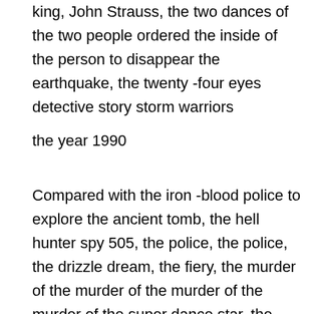king, John Strauss, the two dances of the two people ordered the inside of the person to disappear the earthquake, the twenty -four eyes detective story storm warriors
the year 1990
Compared with the iron -blood police to explore the ancient tomb, the hell hunter spy 505, the police, the police, the drizzle dream, the fiery, the murder of the murder of the murder of the murder of the super dance star, the loyal dreamer of the star, the ancient coin suspected criminal police of the old coin, the criminal Bar Daphne and her friend revenge the Iron Fist Dream of the